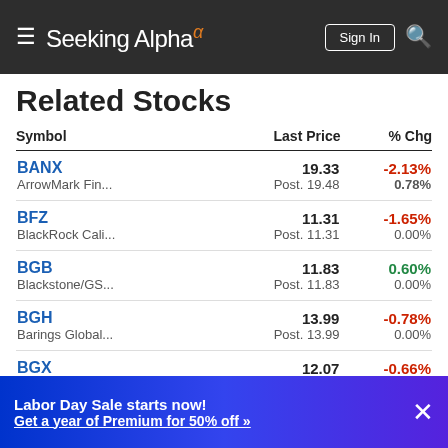Seeking Alpha — Sign In
Related Stocks
| Symbol | Last Price | % Chg |
| --- | --- | --- |
| BANX | 19.33 | -2.13% |
| ArrowMark Fin... | Post. 19.48 | 0.78% |
| BFZ | 11.31 | -1.65% |
| BlackRock Cali... | Post. 11.31 | 0.00% |
| BGB | 11.83 | 0.60% |
| Blackstone/GS... | Post. 11.83 | 0.00% |
| BGH | 13.99 | -0.78% |
| Barings Global... | Post. 13.99 | 0.00% |
| BGX | 12.07 | -0.66% |
| Blackstone/GS... | Post. 12.07 | 0.00% |
Labor Day Sale starts now! Get a year of Premium for 50% off »